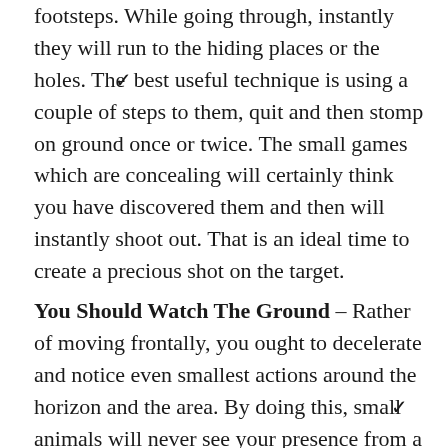footsteps. While going through, instantly they will run to the hiding places or the holes. The best useful technique is using a couple of steps to them, quit and then stomp on ground once or twice. The small games which are concealing will certainly think you have discovered them and then will instantly shoot out. That is an ideal time to create a precious shot on the target.
You Should Watch The Ground – Rather of moving frontally, you ought to decelerate and notice even smallest actions around the horizon and the area. By doing this, small animals will never see your presence from a